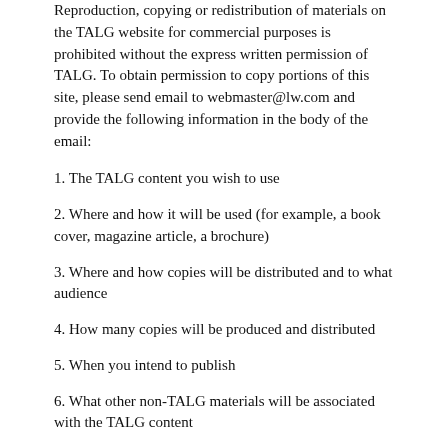Reproduction, copying or redistribution of materials on the TALG website for commercial purposes is prohibited without the express written permission of TALG. To obtain permission to copy portions of this site, please send email to webmaster@lw.com and provide the following information in the body of the email:
1. The TALG content you wish to use
2. Where and how it will be used (for example, a book cover, magazine article, a brochure)
3. Where and how copies will be distributed and to what audience
4. How many copies will be produced and distributed
5. When you intend to publish
6. What other non-TALG materials will be associated with the TALG content